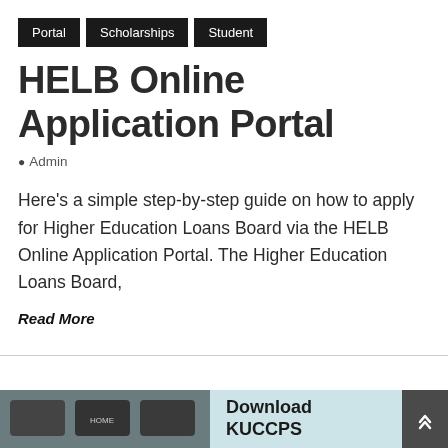Portal | Scholarships | Student
HELB Online Application Portal
Admin
Here's a simple step-by-step guide on how to apply for Higher Education Loans Board via the HELB Online Application Portal. The Higher Education Loans Board,
Read More
[Figure (photo): Keyboard keys including HOME key visible in a dark/grey tone, partial view at the bottom of the page as part of a banner]
Download KUCCPS